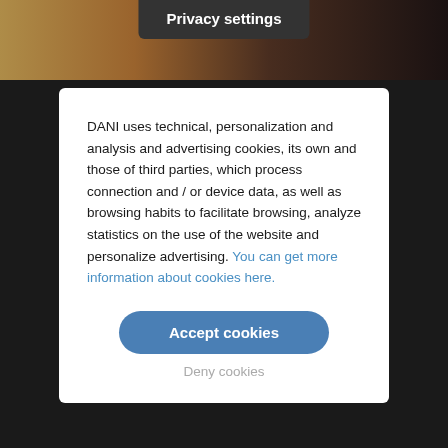Privacy settings
DANI uses technical, personalization and analysis and advertising cookies, its own and those of third parties, which process connection and / or device data, as well as browsing habits to facilitate browsing, analyze statistics on the use of the website and personalize advertising. You can get more information about cookies here.
Accept cookies
Deny cookies